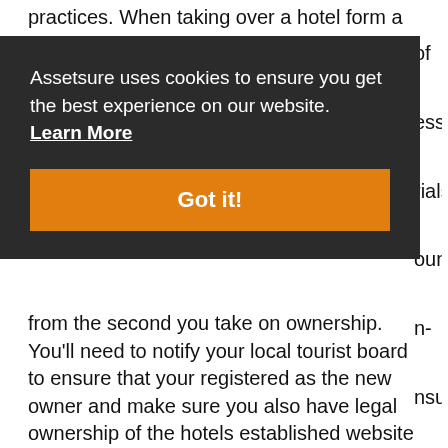practices. When taking over a hotel form a buyer,
Assetsure uses cookies to ensure you get the best experience on our website. Learn More
Got it!
from the second you take on ownership. You'll need to notify your local tourist board to ensure that your registered as the new owner and make sure you also have legal ownership of the hotels established website (to reflect the fact that contact details may have changed). Your payment details also need to be logged with the local council (for business rates) and suppliers notified so the established supply chain of materials (such as linen and food and drinks) does not collapse.
Prior to your first day you will need to undertake a complete